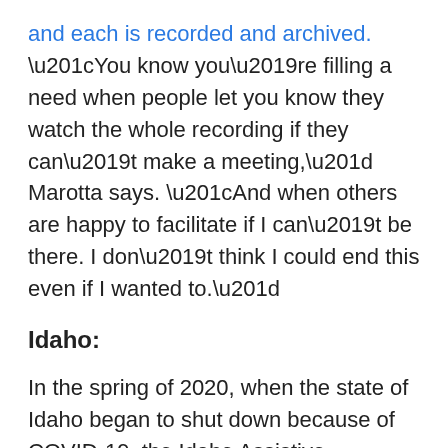and each is recorded and archived. “You know you’re filling a need when people let you know they watch the whole recording if they can’t make a meeting,” Marotta says. “And when others are happy to facilitate if I can’t be there. I don’t think I could end this even if I wanted to.”
Idaho:
In the spring of 2020, when the state of Idaho began to shut down because of COVID-19, the Idaho Assistive Technology Project (IATP) made a quick pivot from a hybrid model to fully remote educational services. IATP receives funding from the Idaho State Department of Education, and through SESTA (Idaho’s Special Education Support and Technical Assistance program). IATP provide